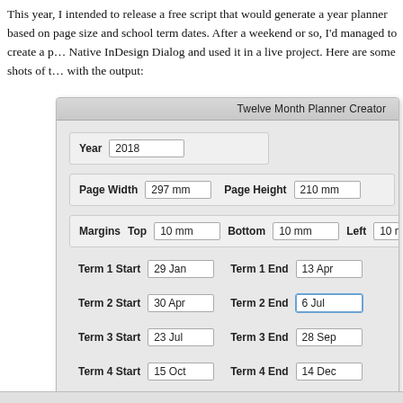This year, I intended to release a free script that would generate a year planner based on page size and school term dates. After a weekend or so, I'd managed to create a plugin with a Native InDesign Dialog and used it in a live project. Here are some shots of the dialog along with the output:
[Figure (screenshot): Screenshot of the Twelve Month Planner Creator InDesign dialog, showing fields for Year (2018), Page Width (297 mm), Page Height (210 mm), Margins Top/Bottom/Left/Right (10 mm each), Term 1–4 Start and End dates, and a copyright notice.]